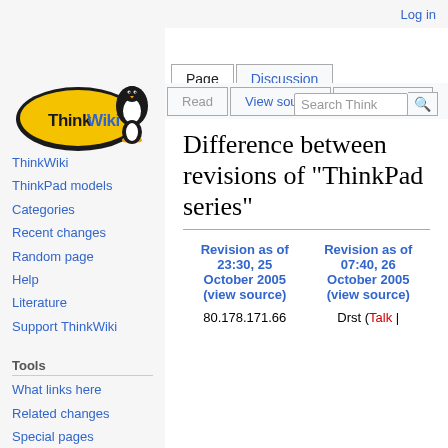Log in
[Figure (logo): ThinkWiki logo with Linux penguin mascot]
Page | Discussion | Read | View source | View history
Difference between revisions of "ThinkPad series"
ThinkWiki
ThinkPad models
Categories
Recent changes
Random page
Help
Literature
Support ThinkWiki
Tools
What links here
Related changes
Special pages
Printable version
| Revision as of 23:30, 25 October 2005 (view source) | Revision as of 07:40, 26 October 2005 (view source) |
| --- | --- |
| 80.178.171.66 | Drst (Talk | |